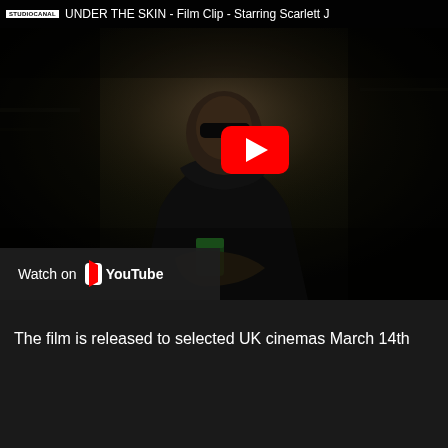[Figure (screenshot): YouTube video thumbnail for 'UNDER THE SKIN - Film Clip - Starring Scarlett J' with a dark cinematic scene showing a figure in a dark jacket, a red YouTube play button overlay, and a 'Watch on YouTube' bar at the bottom left. The STUDIOCANAL logo and video title are visible at the top.]
The film is released to selected UK cinemas March 14th